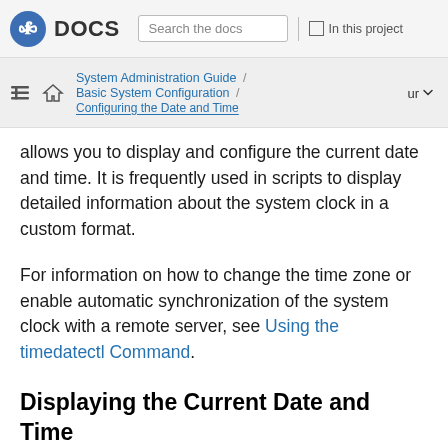Fedora DOCS | Search the docs | In this project
System Administration Guide / Basic System Configuration / Configuring the Date and Time | ur
allows you to display and configure the current date and time. It is frequently used in scripts to display detailed information about the system clock in a custom format.
For information on how to change the time zone or enable automatic synchronization of the system clock with a remote server, see Using the timedatectl Command.
Displaying the Current Date and Time